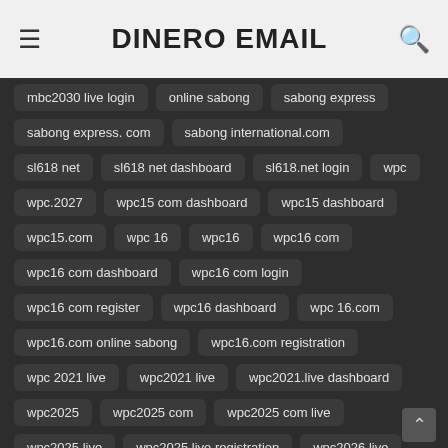DINERO EMAIL
mbc2030 live login
online sabong
sabong express
sabong express. com
sabong international.com
sl618 net
sl618 net dashboard
sl618.net login
wpc
wpc.2027
wpc15 com dashboard
wpc15 dashboard
wpc15.com
wpc 16
wpc16
wpc16 com
wpc16 com dashboard
wpc16 com login
wpc16 com register
wpc16 dashboard
wpc 16.com
wpc16.com online sabong
wpc16.com registration
wpc 2021 live
wpc2021 live
wpc2021.live dashboard
wpc2025
wpc2025 com
wpc2025 com live
wpc2025 live
wpc2025.live registration
wpc2026 live
wpc2027
wpc2027 com dashboard
wpc 2027 live